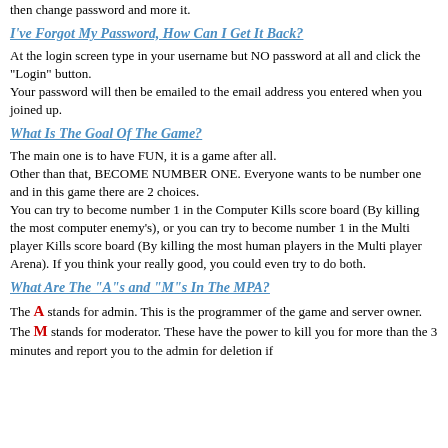then change password and more it.
I've Forgot My Password, How Can I Get It Back?
At the login screen type in your username but NO password at all and click the "Login" button.
Your password will then be emailed to the email address you entered when you joined up.
What Is The Goal Of The Game?
The main one is to have FUN, it is a game after all.
Other than that, BECOME NUMBER ONE. Everyone wants to be number one and in this game there are 2 choices.
You can try to become number 1 in the Computer Kills score board (By killing the most computer enemy's), or you can try to become number 1 in the Multi player Kills score board (By killing the most human players in the Multi player Arena). If you think your really good, you could even try to do both.
What Are The "A"s and "M"s In The MPA?
The A stands for admin. This is the programmer of the game and server owner.
The M stands for moderator. These have the power to kill you for more than the 3 minutes and report you to the admin for deletion if